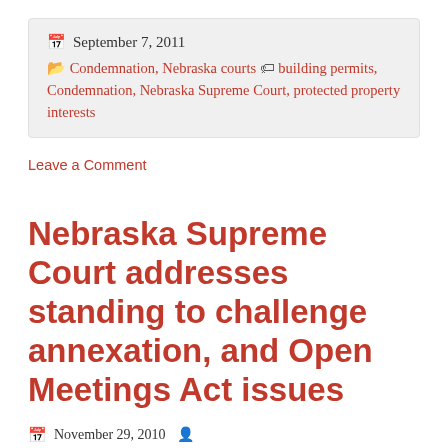September 7, 2011
Condemnation, Nebraska courts • building permits, Condemnation, Nebraska Supreme Court, protected property interests
Leave a Comment
Nebraska Supreme Court addresses standing to challenge annexation, and Open Meetings Act issues
November 29, 2010